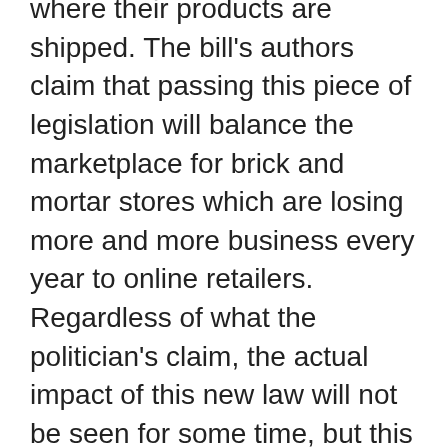where their products are shipped. The bill's authors claim that passing this piece of legislation will balance the marketplace for brick and mortar stores which are losing more and more business every year to online retailers. Regardless of what the politician's claim, the actual impact of this new law will not be seen for some time, but this does bring up this issue to light. How can smaller brick and mortar welding and gas distributors account for the overhead of a storefront and a sales staff and still compete with online distributors?

Over the last two decades the growth of online businesses has grown astronomically. In the US, online purchases account for sixteen percent of all purchases. Much of these purchases go untaxed.